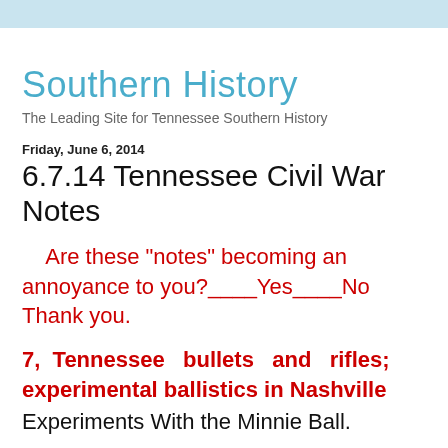Southern History
The Leading Site for Tennessee Southern History
Friday, June 6, 2014
6.7.14 Tennessee Civil War Notes
Are these "notes" becoming an annoyance to you?____Yes____No   Thank you.
7,  Tennessee  bullets  and  rifles; experimental ballistics in Nashville
Experiments With the Minnie Ball.